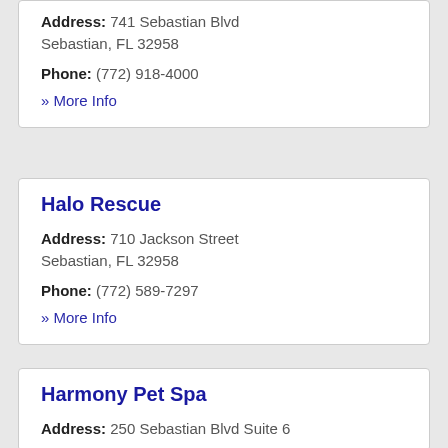Address: 741 Sebastian Blvd Sebastian, FL 32958
Phone: (772) 918-4000
» More Info
Halo Rescue
Address: 710 Jackson Street Sebastian, FL 32958
Phone: (772) 589-7297
» More Info
Harmony Pet Spa
Address: 250 Sebastian Blvd Suite 6